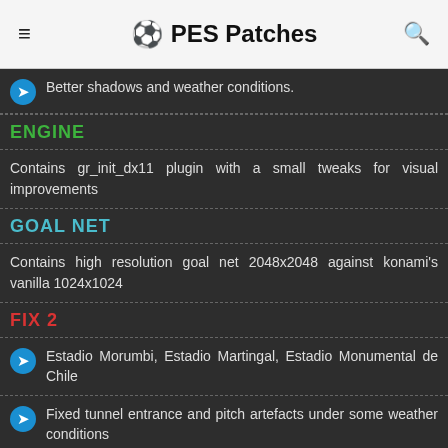⚽ PES Patches
Better shadows and weather conditions.
ENGINE
Contains gr_init_dx11 plugin with a small tweaks for visual improvements
GOAL NET
Contains high resolution goal net 2048x2048 against konami's vanilla 1024x1024
FIX 2
Estadio Morumbi, Estadio Martingal, Estadio Monumental de Chile
Fixed tunnel entrance and pitch artefacts under some weather conditions